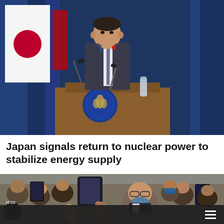[Figure (photo): A man in a dark suit and tie stands at a wooden podium with a blue official emblem, speaking at a press conference. Japanese flags visible in the background with dark blue curtains.]
Japan signals return to nuclear power to stabilize energy supply
[Figure (photo): A crowd of people, many holding up phones and cameras, surrounding a man wearing glasses and a mask around his chin, in an outdoor setting.]